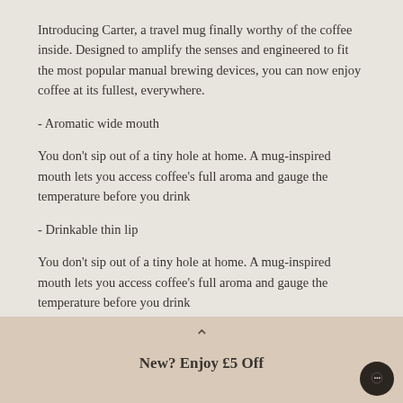Introducing Carter, a travel mug finally worthy of the coffee inside. Designed to amplify the senses and engineered to fit the most popular manual brewing devices, you can now enjoy coffee at its fullest, everywhere.
- Aromatic wide mouth
You don't sip out of a tiny hole at home. A mug-inspired mouth lets you access coffee's full aroma and gauge the temperature before you drink
- Drinkable thin lip
You don't sip out of a tiny hole at home. A mug-inspired mouth lets you access coffee's full aroma and gauge the temperature before you drink
New? Enjoy £5 Off